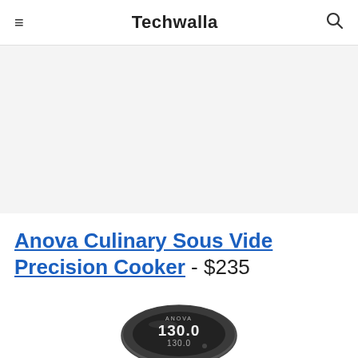≡  Techwalla  🔍
[Figure (other): Gray advertisement banner placeholder area]
Anova Culinary Sous Vide Precision Cooker - $235
[Figure (photo): Anova Culinary Sous Vide Precision Cooker device showing circular display with 130.0 temperature reading]